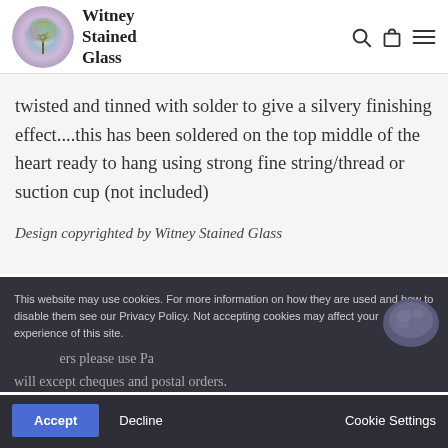Witney Stained Glass
twisted and tinned with solder to give a silvery finishing effect....this has been soldered on the top middle of the heart ready to hang using strong fine string/thread or suction cup (not included)
Design copyrighted by Witney Stained Glass
This website may use cookies. For more information on how they are used and how to disable them see our Privacy Policy. Not accepting cookies may affect your experience of this site.
ers please use Pa
will except cheques and postal orders.